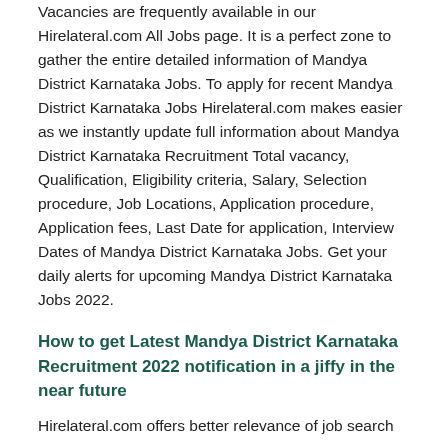Vacancies are frequently available in our Hirelateral.com All Jobs page. It is a perfect zone to gather the entire detailed information of Mandya District Karnataka Jobs. To apply for recent Mandya District Karnataka Jobs Hirelateral.com makes easier as we instantly update full information about Mandya District Karnataka Recruitment Total vacancy, Qualification, Eligibility criteria, Salary, Selection procedure, Job Locations, Application procedure, Application fees, Last Date for application, Interview Dates of Mandya District Karnataka Jobs. Get your daily alerts for upcoming Mandya District Karnataka Jobs 2022.
How to get Latest Mandya District Karnataka Recruitment 2022 notification in a jiffy in the near future
Hirelateral.com offers better relevance of job search